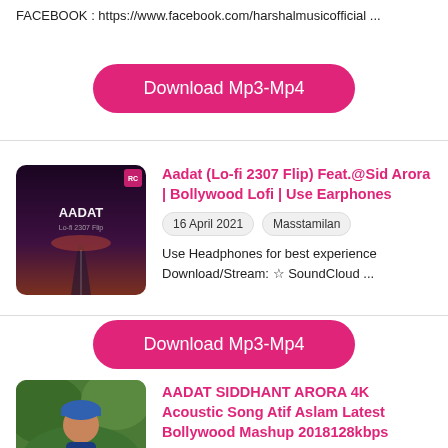FACEBOOK : https://www.facebook.com/harshalmusicofficial ...
[Figure (other): Pink rounded Download Mp3-Mp4 button]
[Figure (photo): Aadat album art thumbnail — dark purple night landscape with text AADAT]
Aadat (Lo-fi 2307 Flip) Feat.@Sid Arora | Bollywood Lofi | Use Earphones
16 April 2021   Masstamilan
Use Headphones for best experience
Download/Stream: ☆ SoundCloud ...
[Figure (other): Pink rounded Download Mp3-Mp4 button]
[Figure (photo): Singer photo thumbnail — person in blue cap outdoors with green background]
AADAT SIDDHANT ARORA 4K Acoustic Song Atif Aslam Latest Bollywood Mashup 2018128kbps